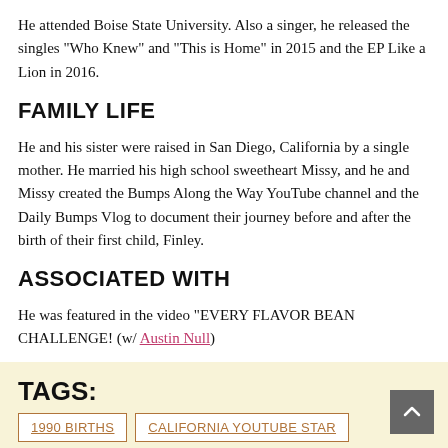He attended Boise State University. Also a singer, he released the singles "Who Knew" and "This is Home" in 2015 and the EP Like a Lion in 2016.
FAMILY LIFE
He and his sister were raised in San Diego, California by a single mother. He married his high school sweetheart Missy, and he and Missy created the Bumps Along the Way YouTube channel and the Daily Bumps Vlog to document their journey before and after the birth of their first child, Finley.
ASSOCIATED WITH
He was featured in the video "EVERY FLAVOR BEAN CHALLENGE! (w/ Austin Null)
TAGS:
1990 BIRTHS
CALIFORNIA YOUTUBE STAR